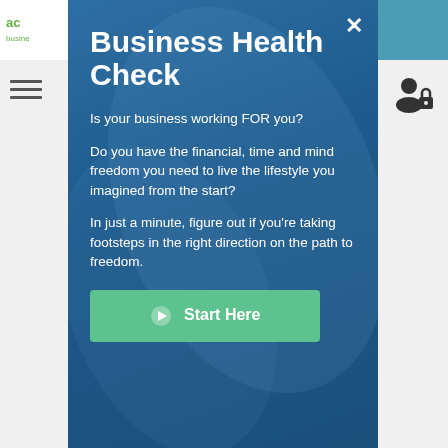[Figure (screenshot): Business website header with logo 'ac... busine...' in green, hamburger menu icon on left sidebar, teal block in top-right corner, person with lock icon in right sidebar, dark background photo]
Business Health Check
Is your business working FOR you?
Do you have the financial, time and mind freedom you need to live the lifestyle you imagined from the start?
In just a minute, figure out if you're taking footsteps in the right direction on the path to freedom.
➔ Start Here